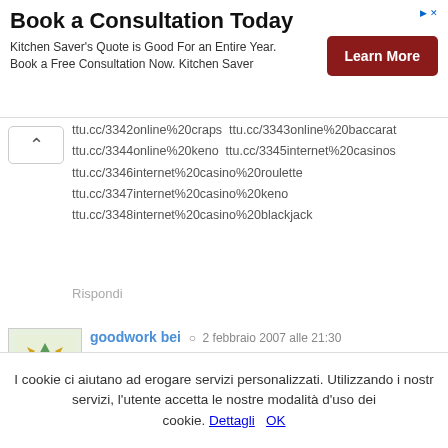[Figure (infographic): Ad banner: Book a Consultation Today with Learn More button]
ttu.cc/3342online%20craps ttu.cc/3343online%20baccarat ttu.cc/3344online%20keno ttu.cc/3345internet%20casinos ttu.cc/3346internet%20casino%20roulette ttu.cc/3347internet%20casino%20keno ttu.cc/3348internet%20casino%20blackjack
Rispondi
goodwork bei · 2 febbraio 2007 alle 21:30
goodwork bei poker play online poker free poker game play internet poker free online texas holdem play texas holdem poker poker free bonus internet poker game freeroll poker tournament omahap poker guide 7 card strategy world series of poker poker room online poker site poker website play poker for money video poker bonus code
I cookie ci aiutano ad erogare servizi personalizzati. Utilizzando i nostri servizi, l'utente accetta le nostre modalità d'uso dei cookie. Dettagli OK